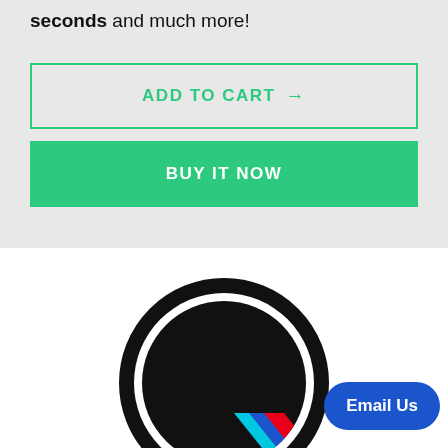seconds and much more!
ADD TO CART →
BUY IT NOW
[Figure (logo): BMW M-style circular logo/steering wheel image, black circle with M-sport stripe (light blue, dark blue, red) visible at lower right]
Email Us